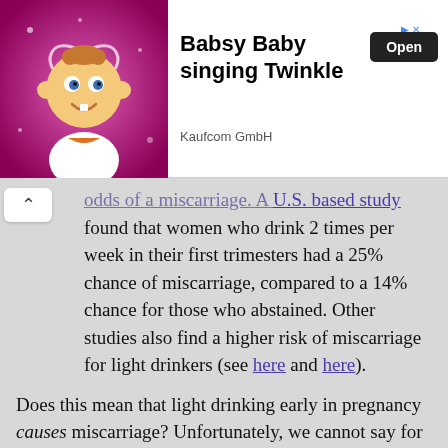[Figure (other): Advertisement banner: animated baby character on pink background. Text reads 'Babsy Baby singing Twinkle', subtitle 'Kaufcom GmbH', with an 'Open' button.]
odds of a miscarriage. A U.S. based study found that women who drink 2 times per week in their first trimesters had a 25% chance of miscarriage, compared to a 14% chance for those who abstained. Other studies also find a higher risk of miscarriage for light drinkers (see here and here).
Does this mean that light drinking early in pregnancy causes miscarriage? Unfortunately, we cannot say for sure. Experimental studies in humans are impossible, so there are a lot of unknowns.